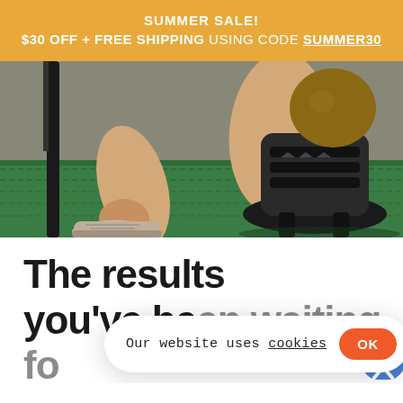SUMMER SALE!
$30 OFF + FREE SHIPPING USING CODE SUMMER30
[Figure (photo): Close-up photo of a person's legs using a fitness/exercise machine on green artificial grass. The person is wearing beige sneakers and the machine has black components including straps and a round base.]
The results you've been waiting for
Our website uses cookies
OK